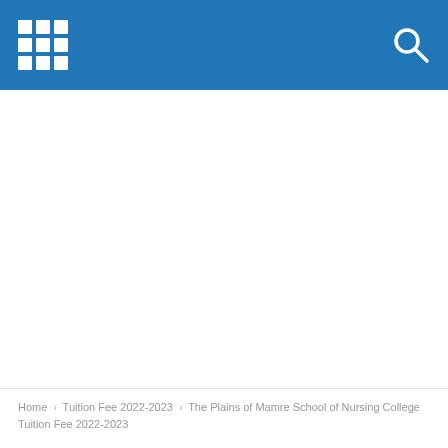[Grid menu icon] [Search icon]
Home › Tuition Fee 2022-2023 › The Plains of Mamre School of Nursing College Tuition Fee 2022-2023